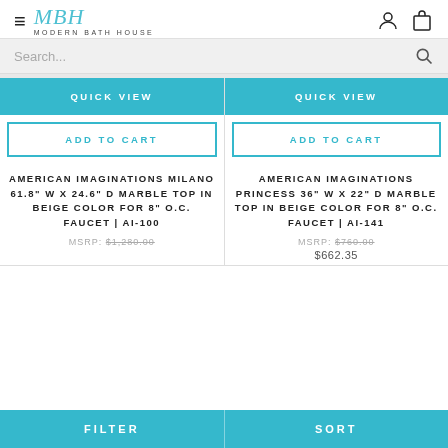Modern Bath House — MBH logo, hamburger menu, account and cart icons, search bar
QUICK VIEW
QUICK VIEW
ADD TO CART
ADD TO CART
AMERICAN IMAGINATIONS MILANO 61.8" W X 24.6" D MARBLE TOP IN BEIGE COLOR FOR 8" O.C. FAUCET | AI-100
MSRP: $1,280.00
AMERICAN IMAGINATIONS PRINCESS 36" W X 22" D MARBLE TOP IN BEIGE COLOR FOR 8" O.C. FAUCET | AI-141
MSRP: $760.00
$662.35
FILTER   SORT